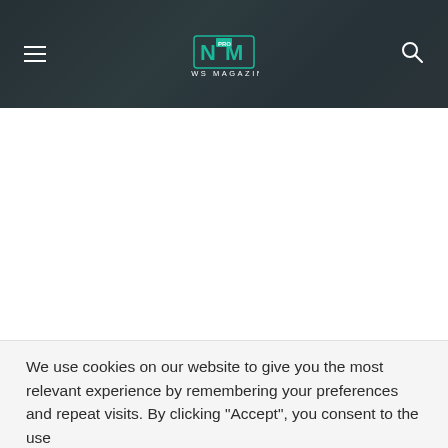NM PRO NEWS MAGAZINE
[Figure (illustration): White empty content area below dark header]
We use cookies on our website to give you the most relevant experience by remembering your preferences and repeat visits. By clicking "Accept", you consent to the use